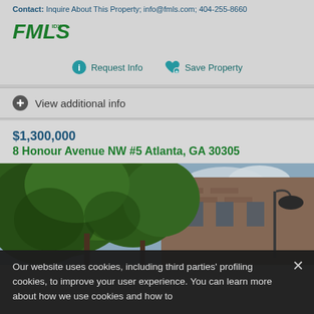Contact: Inquire About This Property; info@fmls.com; 404-255-8660
[Figure (logo): FMLS IDX logo in green italic bold text]
Request Info   Save Property
View additional info
$1,300,000
8 Honour Avenue NW #5 Atlanta, GA 30305
[Figure (photo): Exterior photo of brick building partially obscured by large green trees, with a street lamp and cloudy sky in background]
Our website uses cookies, including third parties' profiling cookies, to improve your user experience. You can learn more about how we use cookies and how to